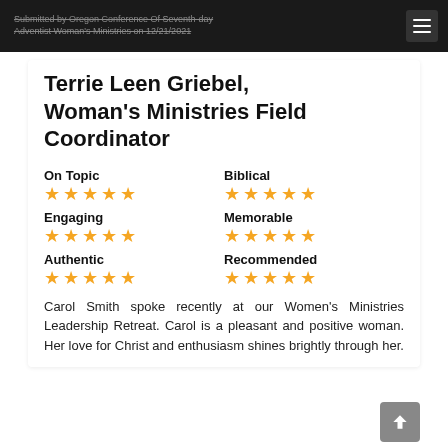Submitted by Oregon Conference Of Seventh-day Adventist Woman's Ministries on 12/21/2021
Terrie Leen Griebel, Woman's Ministries Field Coordinator
On Topic ★★★★★
Biblical ★★★★★
Engaging ★★★★★
Memorable ★★★★★
Authentic ★★★★★
Recommended ★★★★★
Carol Smith spoke recently at our Women's Ministries Leadership Retreat. Carol is a pleasant and positive woman. Her love for Christ and enthusiasm shines brightly through her.